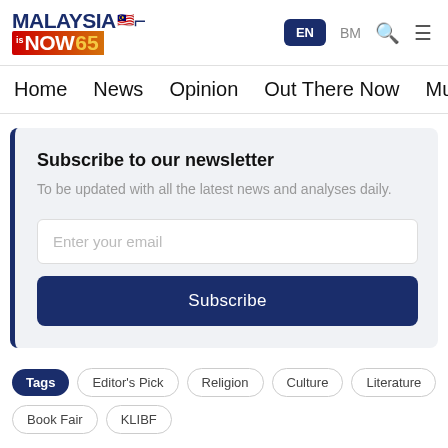[Figure (logo): MalaysiaNow logo with flag emoji, 'MALAYSIA' in dark blue, 'isNOW65' in red/orange gradient with yellow 65, followed by a bracket]
EN  BM  [search icon]  [menu icon]
Home  News  Opinion  Out There Now  Multimedia
Subscribe to our newsletter
To be updated with all the latest news and analyses daily.
Enter your email
Subscribe
Tags  Editor's Pick  Religion  Culture  Literature
Book Fair  KLIBF